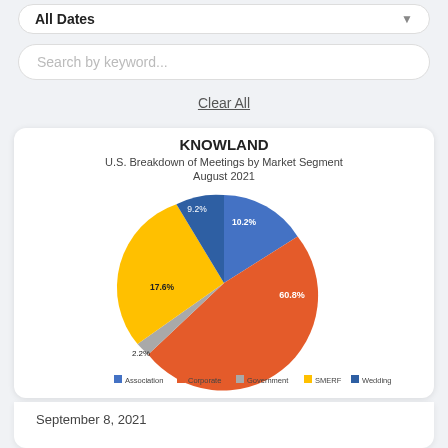All Dates
Search by keyword...
Clear All
[Figure (pie-chart): KNOWLAND U.S. Breakdown of Meetings by Market Segment August 2021]
September 8, 2021